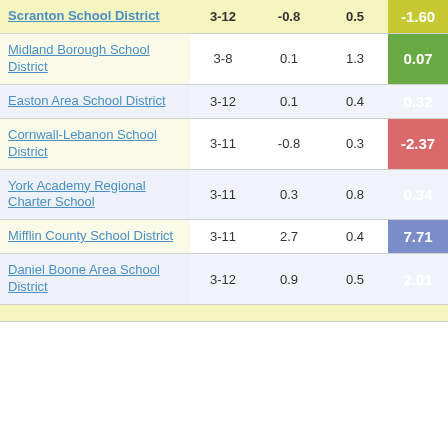| School District | Grades | Col3 | Col4 | Score |
| --- | --- | --- | --- | --- |
| Scranton School District | 3-12 | -0.8 | 0.5 | -1.60 |
| Midland Borough School District | 3-8 | 0.1 | 1.3 | 0.07 |
| Easton Area School District | 3-12 | 0.1 | 0.4 | 0.32 |
| Cornwall-Lebanon School District | 3-11 | -0.8 | 0.3 | -2.37 |
| York Academy Regional Charter School | 3-11 | 0.3 | 0.8 | 0.34 |
| Mifflin County School District | 3-11 | 2.7 | 0.4 | 7.71 |
| Daniel Boone Area School District | 3-12 | 0.9 | 0.5 | 2.01 |